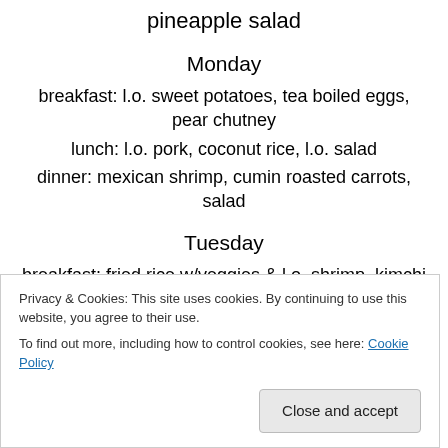pineapple salad
Monday
breakfast: l.o. sweet potatoes, tea boiled eggs, pear chutney
lunch: l.o. pork, coconut rice, l.o. salad
dinner: mexican shrimp, cumin roasted carrots, salad
Tuesday
breakfast: fried rice w/veggies & l.o. shrimp, kimchi
lunch: lentil soup w/l.o. cumin carrots, sourdough crackers, salad
Privacy & Cookies: This site uses cookies. By continuing to use this website, you agree to their use. To find out more, including how to control cookies, see here: Cookie Policy
dinner: beef stew, sourdough bread, green salad